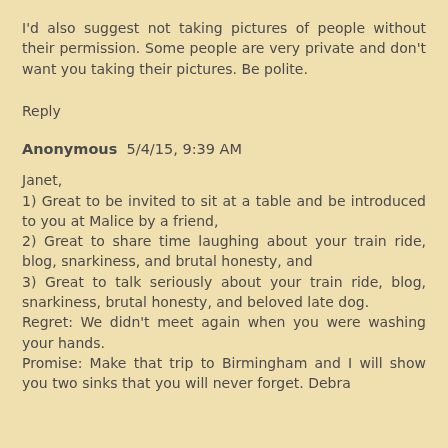I'd also suggest not taking pictures of people without their permission. Some people are very private and don't want you taking their pictures. Be polite.
Reply
Anonymous  5/4/15, 9:39 AM
Janet,
1) Great to be invited to sit at a table and be introduced to you at Malice by a friend,
2) Great to share time laughing about your train ride, blog, snarkiness, and brutal honesty, and
3) Great to talk seriously about your train ride, blog, snarkiness, brutal honesty, and beloved late dog.
Regret: We didn't meet again when you were washing your hands.
Promise: Make that trip to Birmingham and I will show you two sinks that you will never forget. Debra